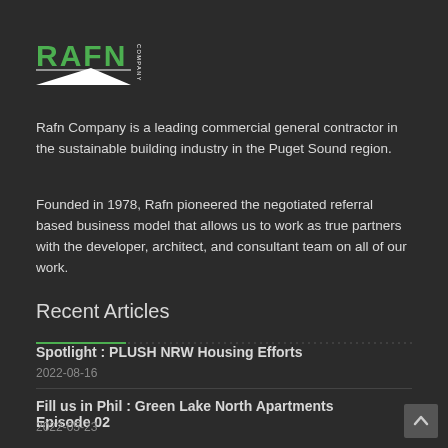[Figure (logo): RAFN COMPANY logo with white triangle and green text on dark background]
Rafn Company is a leading commercial general contractor in the sustainable building industry in the Puget Sound region.
Founded in 1978, Rafn pioneered the negotiated referral based business model that allows us to work as true partners with the developer, architect, and consultant team on all of our work.
Recent Articles
Spotlight : PLUSH NRW Housing Efforts
2022-08-16
Fill us in Phil : Green Lake North Apartments Episode 02
2022-05-23